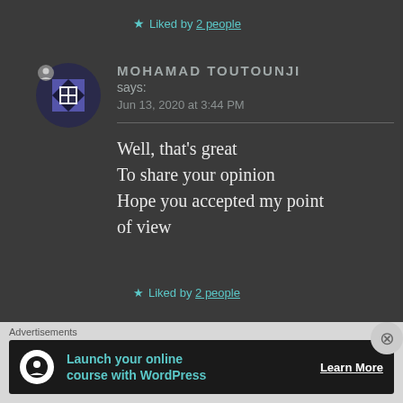★ Liked by 2 people
[Figure (illustration): WordPress avatar: geometric pattern in navy and white with a person silhouette icon overlay]
MOHAMAD TOUTOUNJI says: Jun 13, 2020 at 3:44 PM
Well, that's great
To share your opinion
Hope you accepted my point of view
★ Liked by 2 people
Advertisements
[Figure (screenshot): Advertisement banner: Launch your online course with WordPress — Learn More]